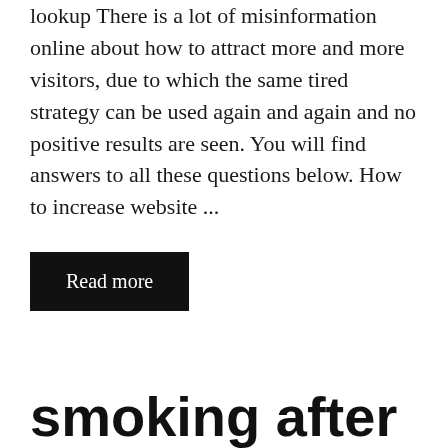lookup There is a lot of misinformation online about how to attract more and more visitors, due to which the same tired strategy can be used again and again and no positive results are seen. You will find answers to all these questions below. How to increase website ...
Read more
smoking after